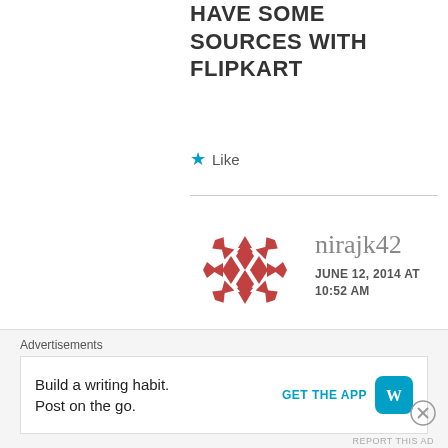HAVE SOME SOURCES WITH FLIPKART
Like
[Figure (illustration): Red decorative circular pattern avatar for user nirajk42]
nirajk42
JUNE 12, 2014 AT 10:52 AM
let's see!

can you give your feedback

on high SAR value of MOTO E
Advertisements
Build a writing habit.
Post on the go.
GET THE APP